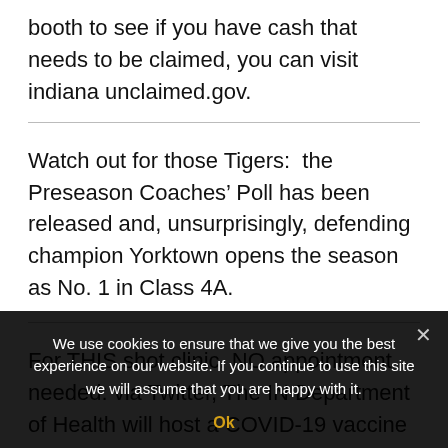booth to see if you have cash that needs to be claimed, you can visit indiana unclaimed.gov.
Watch out for those Tigers:  the Preseason Coaches’ Poll has been released and, unsurprisingly, defending champion Yorktown opens the season as No. 1 in Class 4A.
For THIS shot clinic, NO appointment needed: via Twitter, The IN Department of Health will host a COVID-19 vaccine clinic at The North Walnut Street Fieldhouse today through Wednesday, from 3 p.m. to 6 p.m. No appointment needed, walk-ins welcome. Johnson & Johnson and Pfizer vaccines will be present.
We use cookies to ensure that we give you the best experience on our website. If you continue to use this site we will assume that you are happy with it. Ok